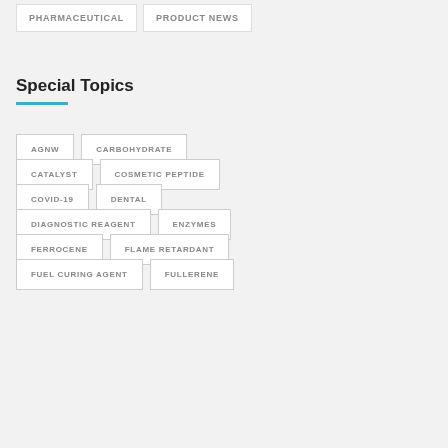PHARMACEUTICAL
PRODUCT NEWS
Special Topics
AGNW
CARBOHYDRATE
CATALYST
COSMETIC PEPTIDE
COVID-19
DENTAL
DIAGNOSTIC REAGENT
ENZYMES
FERROCENE
FLAME RETARDANT
FUEL CURING AGENT
FULLERENE